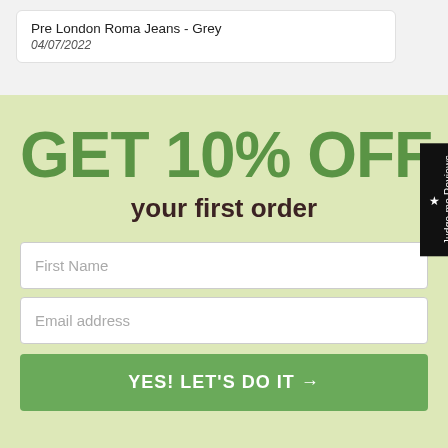Pre London Roma Jeans - Grey
04/07/2022
GET 10% OFF
your first order
First Name
Email address
YES! LET'S DO IT →
★ Judge.me Reviews